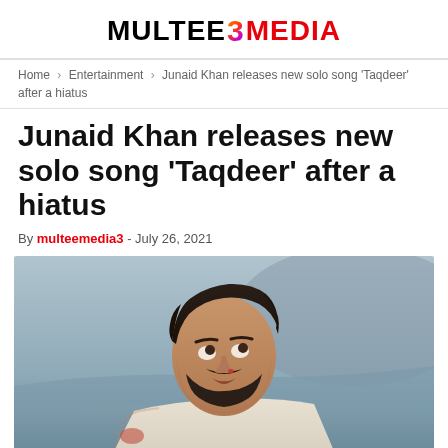MULTEE 3 MEDIA
Home > Entertainment > Junaid Khan releases new solo song ‘Taqdeer’ after a hiatus
Junaid Khan releases new solo song ‘Taqdeer’ after a hiatus
By multeemedia3 - July 26, 2021
[Figure (photo): Photo of Junaid Khan, a young man with dark hair and beard wearing a white tank top, looking upward, with a blue-grey background]